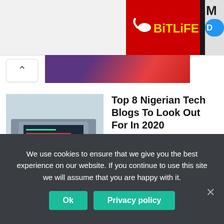[Figure (screenshot): BitLife app advertisement banner in red with logo and yellow text, and a partial blue pill shape with 'M D' text on right side]
[Figure (photo): Partial view of an article thumbnail showing a person in a suit]
Top 8 Nigerian Tech Blogs To Look Out For In 2020
January 15, 2020
[Figure (photo): Dark photo of a woman, possibly Lupita Nyong'o]
Lupita Nyong'o and the two other biggest snubs at the 2020 Oscars
January 13, 2020
We use cookies to ensure that we give you the best experience on our website. If you continue to use this site we will assume that you are happy with it.
Ok
Privacy policy